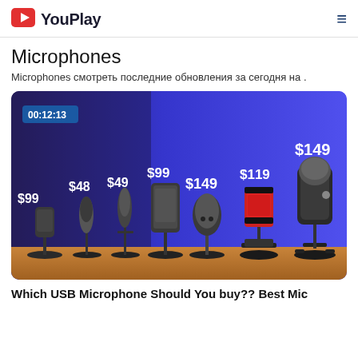YouPlay
Microphones
Microphones смотреть последние обновления за сегодня на .
[Figure (screenshot): Video thumbnail showing 7 microphones of different styles arranged by price: $99, $48, $49, $99, $149, $119, $149. Duration shown as 00:12:13. Blue background.]
Which USB Microphone Should You buy?? Best Mic